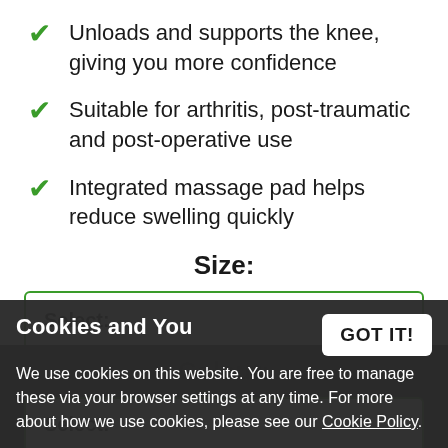Unloads and supports the knee, giving you more confidence
Suitable for arthritis, post-traumatic and post-operative use
Integrated massage pad helps reduce swelling quickly
Size:
Select:
Colour:
Cookies and You
GOT IT!
We use cookies on this website. You are free to manage these via your browser settings at any time. For more about how we use cookies, please see our Cookie Policy.
Select: